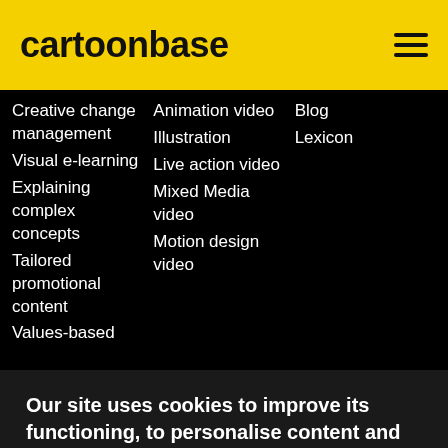cartoonbase
Creative change management
Visual e-learning
Explaining complex concepts
Tailored promotional content
Values-based
Animation video
Illustration
Live action video
Mixed Media video
Motion design video
Blog
Lexicon
Our site uses cookies to improve its functioning, to personalise content and ads, and to analyse our traffic. Read our cookie policy
Manage cookies   Accept cookies